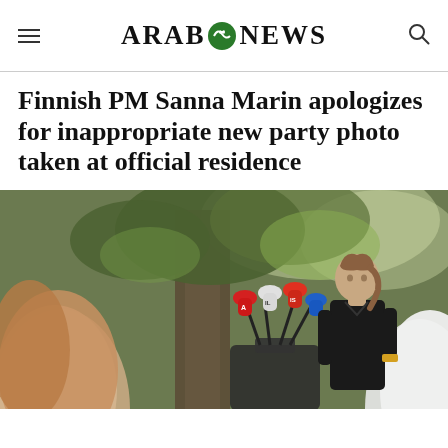ARAB NEWS
Finnish PM Sanna Marin apologizes for inappropriate new party photo taken at official residence
[Figure (photo): Sanna Marin at an outdoor press conference standing behind a podium with multiple microphones from various media outlets including red, blue, and white branded mics. Photographed outdoors with trees in the background. Foreground shows blurred heads of audience members.]